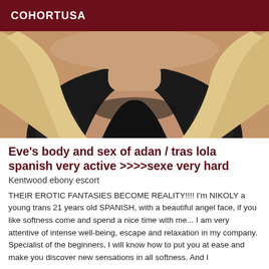COHORTUSA
[Figure (photo): Close-up photo of a person with blonde hair wearing a black top]
Eve's body and sex of adan / tras lola spanish very active >>>>sexe very hard
Kentwood ebony escort
THEIR EROTIC FANTASIES BECOME REALITY!!!! I'm NIKOLY a young trans 21 years old SPANISH, with a beautiful angel face, if you like softness come and spend a nice time with me... I am very attentive of intense well-being, escape and relaxation in my company. Specialist of the beginners, I will know how to put you at ease and make you discover new sensations in all softness. And I